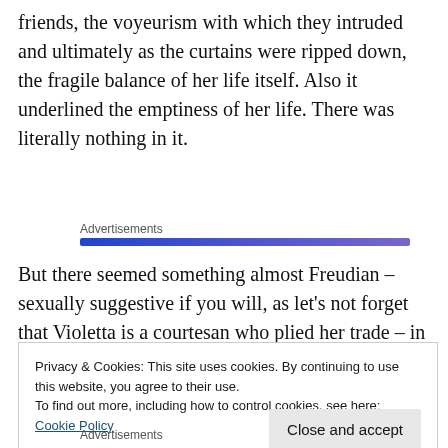friends, the voyeurism with which they intruded and ultimately as the curtains were ripped down, the fragile balance of her life itself. Also it underlined the emptiness of her life. There was literally nothing in it.
Advertisements
But there seemed something almost Freudian – sexually suggestive if you will, as let's not forget that Violetta is a courtesan who plied her trade – in the way that the
Privacy & Cookies: This site uses cookies. By continuing to use this website, you agree to their use.
To find out more, including how to control cookies, see here: Cookie Policy
Close and accept
Advertisements